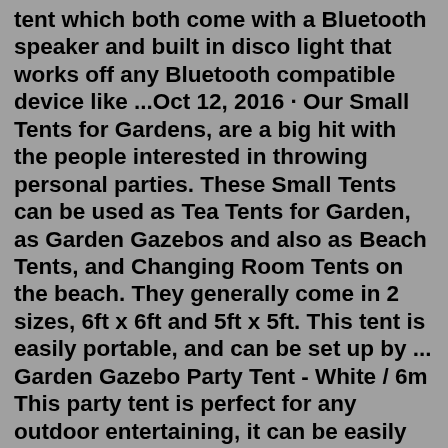tent which both come with a Bluetooth speaker and built in disco light that works off any Bluetooth compatible device like ...Oct 12, 2016 · Our Small Tents for Gardens, are a big hit with the people interested in throwing personal parties. These Small Tents can be used as Tea Tents for Garden, as Garden Gazebos and also as Beach Tents, and Changing Room Tents on the beach. They generally come in 2 sizes, 6ft x 6ft and 5ft x 5ft. This tent is easily portable, and can be set up by ... Garden Gazebo Party Tent - White / 6m This party tent is perfect for any outdoor entertaining, it can be easily secured to the ground for a more permanent feature and dismantled when not required. Ideal for commercial or recreational use, car, ATV, boat storage, parties, weddings or backyard events.May 27, 2021 · Affordable party tents for any event. Party tents are a wonderful item to have in your garden furniture supply. Whether you're looking for a family tent, wedding tent or just a fun, shaded outdoor ... B.C.